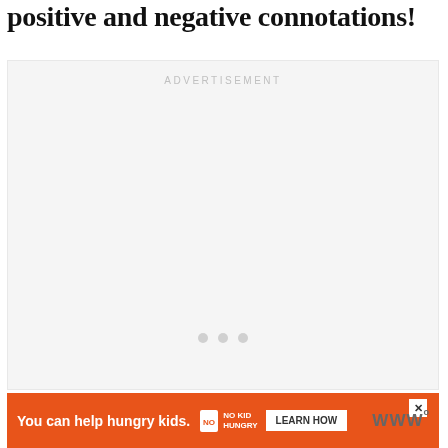positive and negative connotations!
[Figure (other): Advertisement placeholder box with 'ADVERTISEMENT' label at top and three navigation dots near the bottom. Large light gray empty box.]
[Figure (other): Orange banner advertisement at the bottom. Text reads 'You can help hungry kids.' with No Kid Hungry logo and 'LEARN HOW' button. Close button (X) in top right. Wordmark 'WWo' in gray on far right.]